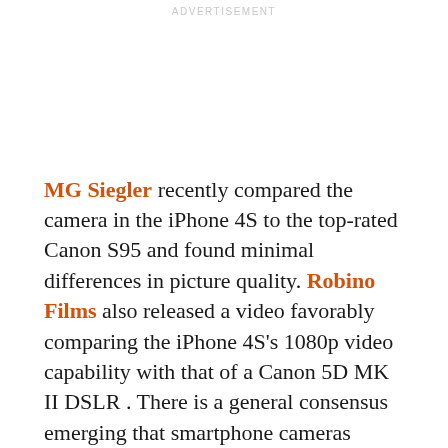ADVERTISEMENT
MG Siegler recently compared the camera in the iPhone 4S to the top-rated Canon S95 and found minimal differences in picture quality. Robino Films also released a video favorably comparing the iPhone 4S's 1080p video capability with that of a Canon 5D MK II DSLR . There is a general consensus emerging that smartphone cameras